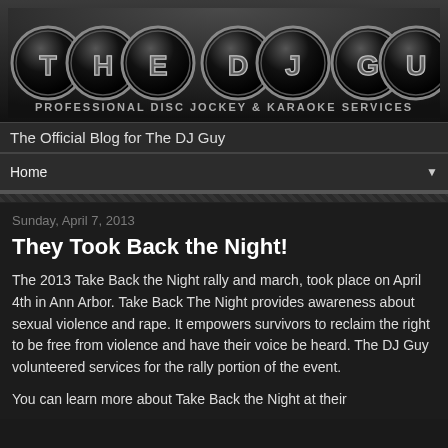[Figure (logo): The DJ Guy logo with large circular letter badges spelling out THE DJ GUY on a dark background]
PROFESSIONAL DISC JOCKEY & KARAOKE SERVICES
The Official Blog for The DJ Guy
Home
Sunday, April 7, 2013
They Took Back the Night!
The 2013 Take Back the Night rally and march, took place on April 4th in Ann Arbor.  Take Back The Night provides awareness about sexual violence and rape.  It empowers survivors to reclaim the right to be free from violence and have their voice be heard.  The DJ Guy volunteered services for the rally portion of the event.
You can learn more about Take Back the Night at their